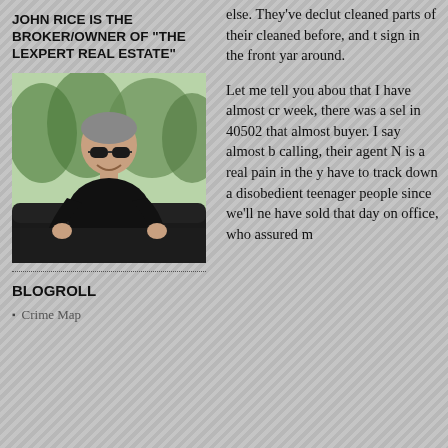JOHN RICE IS THE BROKER/OWNER OF "THE LEXPERT REAL ESTATE"
[Figure (photo): Portrait photo of a middle-aged man wearing sunglasses and a black t-shirt, leaning on a car with trees in the background]
BLOGROLL
Crime Map
else. They've declut cleaned parts of their cleaned before, and t sign in the front yar around.
Let me tell you abou that I have almost cr week, there was a sel in 40502 that almost buyer. I say almost b calling, their agent N is a real pain in the y have to track down a disobedient teenager people since we'll ne have sold that day on office, who assured m